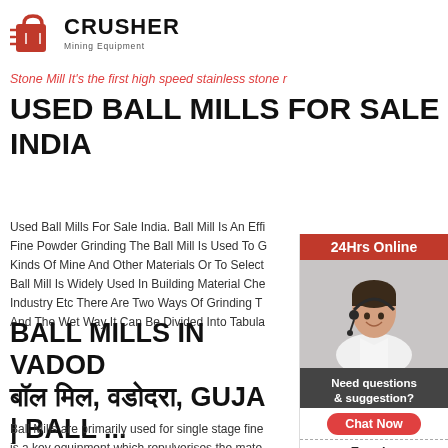[Figure (logo): Crusher Mining Equipment logo with red shopping bag icon and bold text]
Stone Mill It's the first high speed stainless stone r
USED BALL MILLS FOR SALE INDIA
Used Ball Mills For Sale India. Ball Mill Is An Efficient Fine Powder Grinding The Ball Mill Is Used To Grind Kinds Of Mine And Other Materials Or To Select Ball Mill Is Widely Used In Building Material Che Industry Etc There Are Two Ways Of Grinding T And The Wet Way It Can Be Divided Into Tabula
BALL MILLS IN VADOD बॉल मिल, वडोदरा, GUJA | BALL ...
Ball Mills are primarily used for single stage fine is a key equipment which repulverises the mate crushed. It is widely used in manufacturing industries such as
[Figure (infographic): Sidebar with 24Hrs Online red banner, customer service representative photo, Need questions & suggestion? text, Chat Now button, Enquiry link, and limingjlmofen@sina.com email]